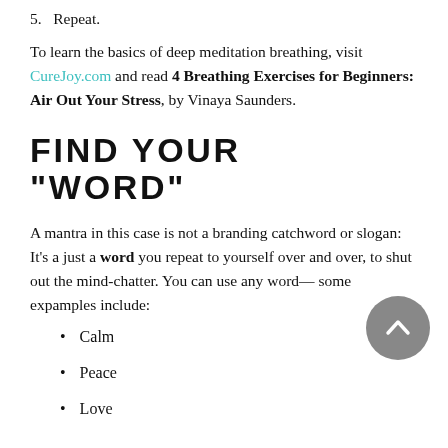5.   Repeat.
To learn the basics of deep meditation breathing, visit CureJoy.com and read 4 Breathing Exercises for Beginners: Air Out Your Stress, by Vinaya Saunders.
FIND YOUR “WORD”
A mantra in this case is not a branding catchword or slogan: It’s a just a word you repeat to yourself over and over, to shut out the mind-chatter. You can use any word— some expamples include:
Calm
Peace
Love